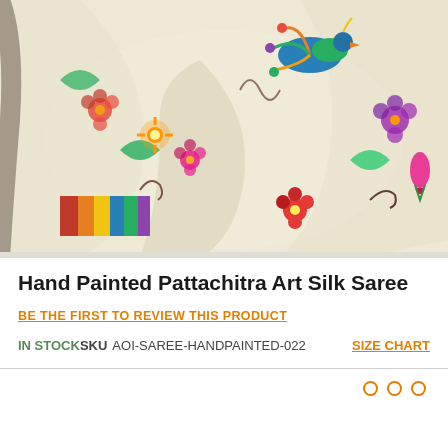[Figure (photo): Close-up photograph of a hand-painted Pattachitra Art Silk Saree on a mannequin. The cream/off-white silk fabric features colorful hand-painted folk art motifs including a peacock/bird, flowers, leaves, and decorative patterns. A colorful border with geometric blocks (red, yellow, blue, olive green) is visible along the edge.]
Hand Painted Pattachitra Art Silk Saree
BE THE FIRST TO REVIEW THIS PRODUCT
IN STOCK SKU  AOI-SAREE-HANDPAINTED-022   SIZE CHART